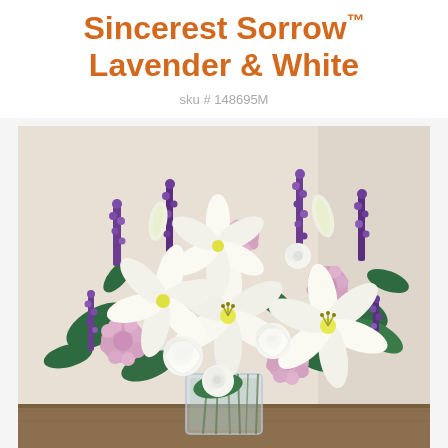Sincerest Sorrow™ Lavender & White
sku # 148695M
[Figure (photo): A large floral arrangement in a clear glass vase featuring white Asiatic lilies, white roses, lavender/purple stock flowers, and pink chrysanthemums with green foliage, displayed on a wooden surface against a neutral background.]